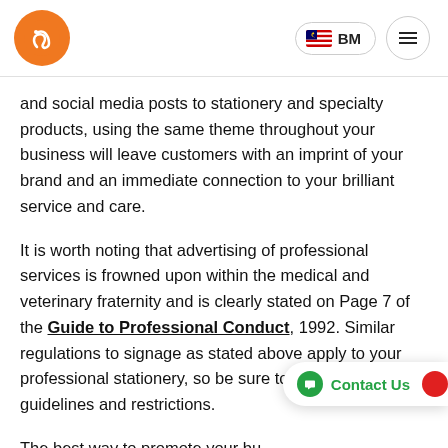[Figure (logo): Orange circular logo with white animal silhouette (snake/reptile)]
[Figure (screenshot): Navigation bar with Malaysian flag BM language button and hamburger menu button]
and social media posts to stationery and specialty products, using the same theme throughout your business will leave customers with an imprint of your brand and an immediate connection to your brilliant service and care.
It is worth noting that advertising of professional services is frowned upon within the medical and veterinary fraternity and is clearly stated on Page 7 of the Guide to Professional Conduct, 1992. Similar regulations to signage as stated above apply to your professional stationery, so be sure to take note of these guidelines and restrictions.
The best way to promote your bu top-notch care and for this to spr mouth.